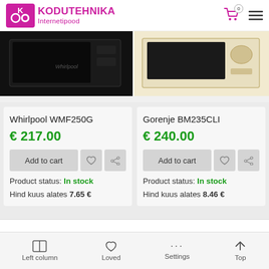KODUTEHNIKA Internetipood
[Figure (photo): Whirlpool built-in microwave, black finish, partial view]
[Figure (photo): Gorenje built-in microwave, cream/beige retro finish, partial view]
Whirlpool WMF250G
€ 217.00
Add to cart
Product status: In stock
Hind kuus alates 7.65 €
Gorenje BM235CLI
€ 240.00
Add to cart
Product status: In stock
Hind kuus alates 8.46 €
Left column  Loved  Settings  Top